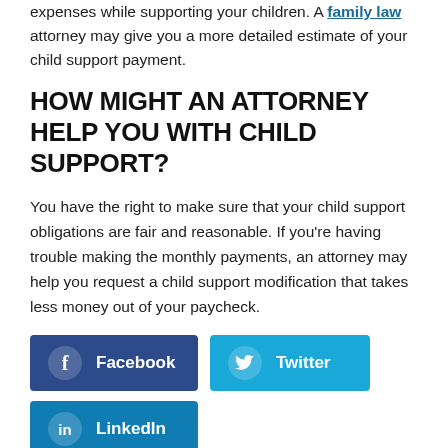expenses while supporting your children. A family law attorney may give you a more detailed estimate of your child support payment.
HOW MIGHT AN ATTORNEY HELP YOU WITH CHILD SUPPORT?
You have the right to make sure that your child support obligations are fair and reasonable. If you're having trouble making the monthly payments, an attorney may help you request a child support modification that takes less money out of your paycheck.
[Figure (other): Social sharing buttons for Facebook, Twitter, and LinkedIn]